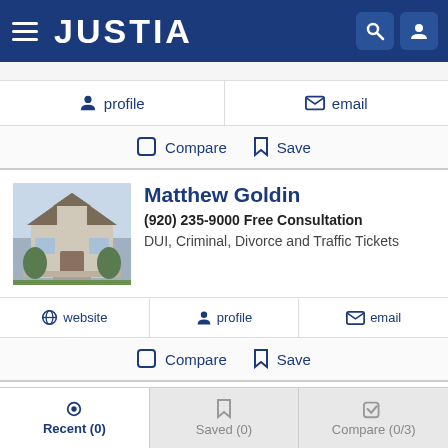JUSTIA
profile   email
Compare   Save
Matthew Goldin
(920) 235-9000 Free Consultation
DUI, Criminal, Divorce and Traffic Tickets
website   profile   email
Compare   Save
Michael Rudolph
Recent (0)   Saved (0)   Compare (0/3)